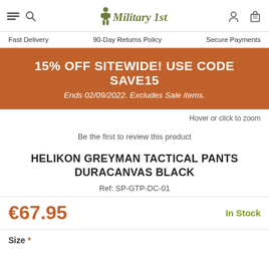Military 1st — Fast Delivery | 90-Day Returns Policy | Secure Payments
15% OFF SITEWIDE! USE CODE SAVE15
Ends 02/09/2022. Excludes Sale items.
Hover or click to zoom
Be the first to review this product
HELIKON GREYMAN TACTICAL PANTS DURACANVAS BLACK
Ref: SP-GTP-DC-01
€67.95
In Stock
Size *